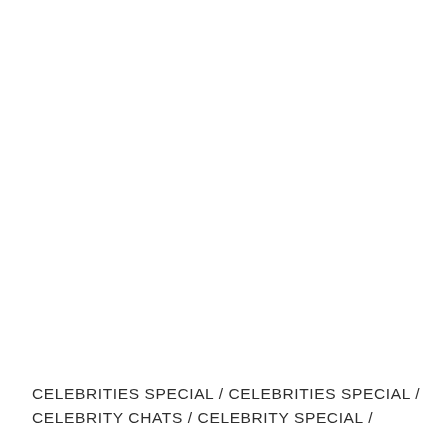CELEBRITIES SPECIAL / CELEBRITIES SPECIAL / CELEBRITY CHATS / CELEBRITY SPECIAL /